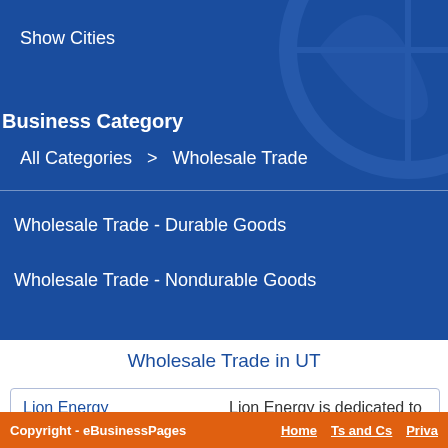Show Cities
Business Category
All Categories  >  Wholesale Trade
Wholesale Trade - Durable Goods
Wholesale Trade - Nondurable Goods
Wholesale Trade in UT
Lion Energy
Lion Energy is dedicated to
Copyright - eBusinessPages   Home   Ts and Cs   Priva...